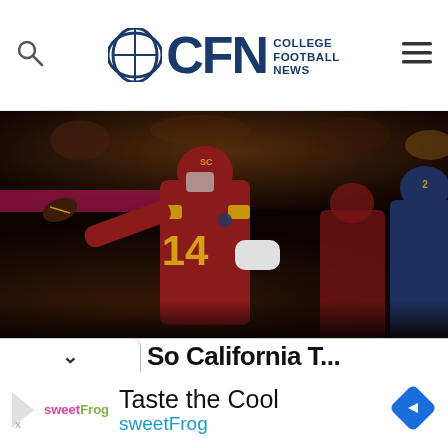CFN College Football News
[Figure (photo): USC quarterback #14 in cardinal and gold uniform throwing a pass, with opposing team players in navy and gold uniforms during a college football game. Night game setting with crowd in background.]
So California T... (partially visible article title)
[Figure (infographic): Advertisement for sweetFrog frozen yogurt showing 'Taste the Cool' tagline with sweetFrog branding in pink and green, navigation arrow icon in blue diamond.]